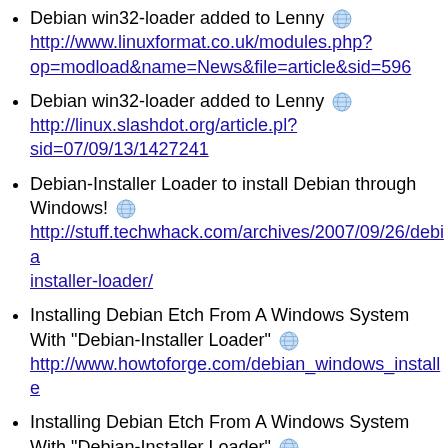Debian win32-loader added to Lenny 🌐 http://www.linuxformat.co.uk/modules.php?op=modload&name=News&file=article&sid=596
Debian win32-loader added to Lenny 🌐 http://linux.slashdot.org/article.pl?sid=07/09/13/1427241
Debian-Installer Loader to install Debian through Windows! 🌐 http://stuff.techwhack.com/archives/2007/09/26/debian-installer-loader/
Installing Debian Etch From A Windows System With "Debian-Installer Loader" 🌐 http://www.howtoforge.com/debian_windows_installe
Installing Debian Etch From A Windows System With "Debian-Installer Loader" 🌐 http://www.linuxtoday.com/infrastructure/2007092801
Installing Debian Etch From A Windows System With "Debian-Installer Loader" 🌐